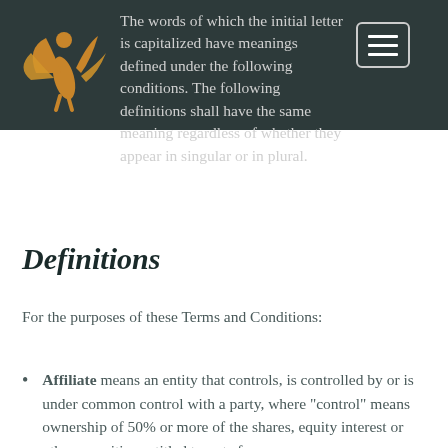[Figure (logo): Orange winged figure logo on dark teal background header bar]
The words of which the initial letter is capitalized have meanings defined under the following conditions. The following definitions shall have the same meaning regardless of whether they appear in singular or in plural.
Definitions
For the purposes of these Terms and Conditions:
Affiliate means an entity that controls, is controlled by or is under common control with a party, where "control" means ownership of 50% or more of the shares, equity interest or other securities entitled to vote for